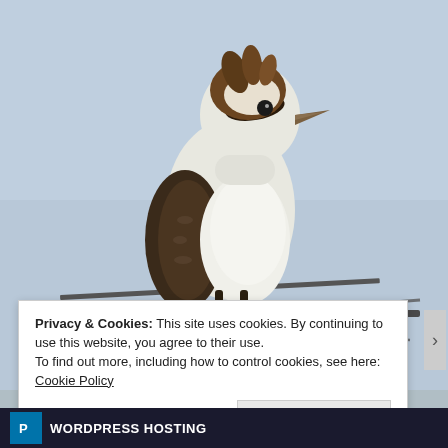[Figure (photo): A kookaburra bird perched on top of a TV antenna or roof aerial, photographed against a pale blue sky. The bird has white and brown plumage with a dark eye stripe, facing left. The antenna structure is visible below the bird.]
Privacy & Cookies: This site uses cookies. By continuing to use this website, you agree to their use.
To find out more, including how to control cookies, see here: Cookie Policy
Close and accept
WORDPRESS HOSTING